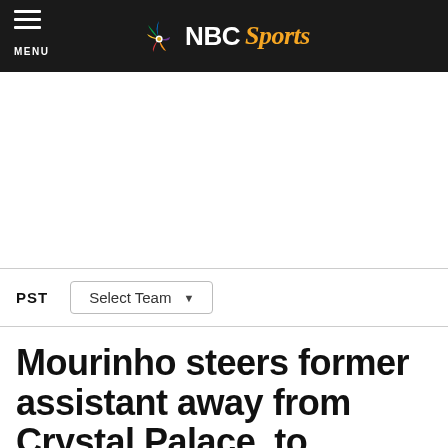NBC Sports
PST   Select Team
Mourinho steers former assistant away from Crystal Palace, to Middlesbrough
By Richard Farley   Nov 13, 2013, 4:12 PM EST